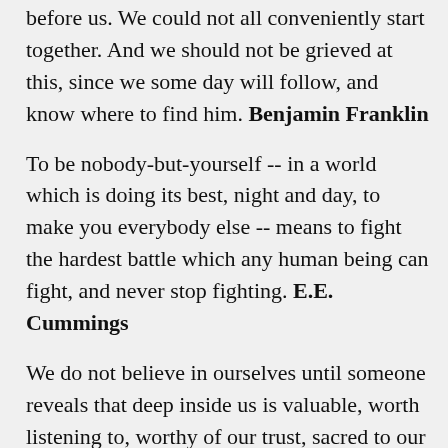before us. We could not all conveniently start together. And we should not be grieved at this, since we some day will follow, and know where to find him. Benjamin Franklin
To be nobody-but-yourself -- in a world which is doing its best, night and day, to make you everybody else -- means to fight the hardest battle which any human being can fight, and never stop fighting. E.E. Cummings
We do not believe in ourselves until someone reveals that deep inside us is valuable, worth listening to, worthy of our trust, sacred to our touch. Once we believe in ourselves we can risk curiosity, wonder, spontaneous delight or any experience that reveals the human spirit. E.E. Cummings